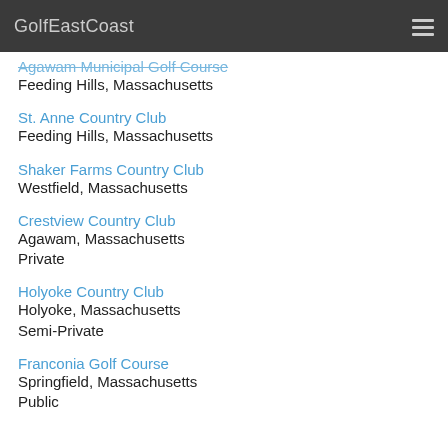GolfEastCoast
Agawam Municipal Golf Course
Feeding Hills, Massachusetts
St. Anne Country Club
Feeding Hills, Massachusetts
Shaker Farms Country Club
Westfield, Massachusetts
Crestview Country Club
Agawam, Massachusetts
Private
Holyoke Country Club
Holyoke, Massachusetts
Semi-Private
Franconia Golf Course
Springfield, Massachusetts
Public